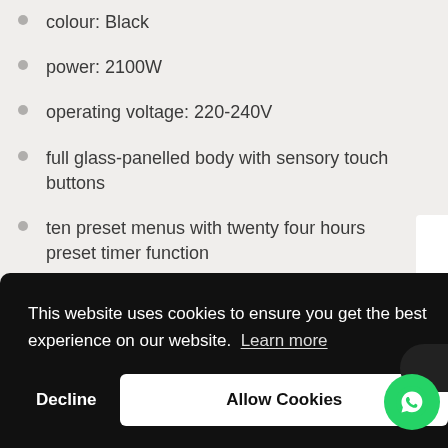colour: Black
power: 2100W
operating voltage: 220-240V
full glass-panelled body with sensory touch buttons
ten preset menus with twenty four hours preset timer function
durable and easy to clean
From the Manufacturer
This website uses cookies to ensure you get the best experience on our website. Learn more
Decline
Allow Cookies